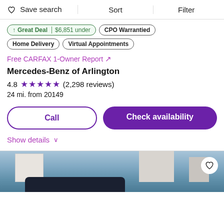Save search   Sort   Filter
Great Deal | $6,851 under
CPO Warrantied
Home Delivery
Virtual Appointments
Free CARFAX 1-Owner Report ↗
Mercedes-Benz of Arlington
4.8 ★★★★★ (2,298 reviews)
24 mi. from 20149
Call
Check availability
Show details ∨
[Figure (photo): Partial view of a car dealership lot with buildings and vehicles in background]